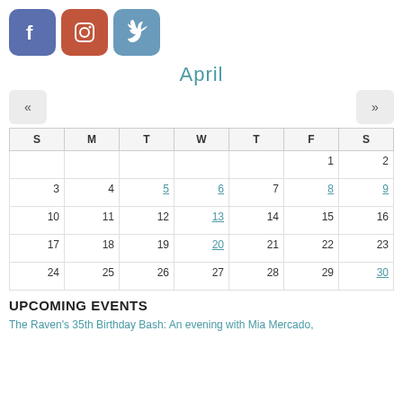[Figure (logo): Three social media icons: Facebook (blue-purple), Instagram (orange-red), Twitter (steel blue)]
April
| S | M | T | W | T | F | S |
| --- | --- | --- | --- | --- | --- | --- |
|  |  |  |  | 1 | 2 |
| 3 | 4 | 5 | 6 | 7 | 8 | 9 |
| 10 | 11 | 12 | 13 | 14 | 15 | 16 |
| 17 | 18 | 19 | 20 | 21 | 22 | 23 |
| 24 | 25 | 26 | 27 | 28 | 29 | 30 |
UPCOMING EVENTS
The Raven's 35th Birthday Bash: An evening with Mia Mercado,